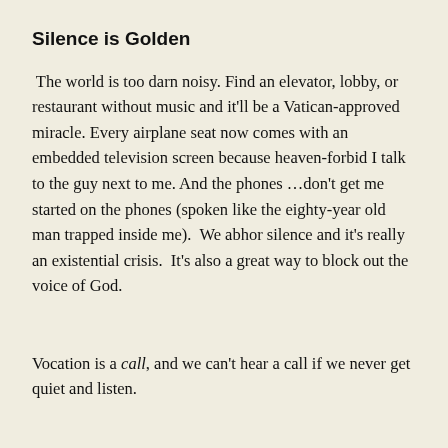Silence is Golden
The world is too darn noisy. Find an elevator, lobby, or restaurant without music and it'll be a Vatican-approved miracle. Every airplane seat now comes with an embedded television screen because heaven-forbid I talk to the guy next to me. And the phones …don't get me started on the phones (spoken like the eighty-year old man trapped inside me).  We abhor silence and it's really an existential crisis.  It's also a great way to block out the voice of God.
Vocation is a call, and we can't hear a call if we never get quiet and listen.